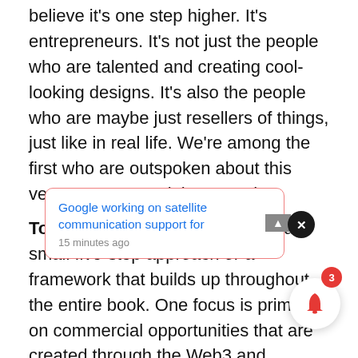believe it's one step higher. It's entrepreneurs. It's not just the people who are talented and creating cool-looking designs. It's also the people who are maybe just resellers of things, just like in real life. We're among the first who are outspoken about this very entrepreneurial approach.
Tommaso Di Bartolo: We have a small five-step approach or a framework that builds up throughout the entire book. One focus is primarily on commercial opportunities that are created through the Web3 and blockchain-based technologies, and one thing we focus on. Then we dive into the perspective of tokenomics. And when we say that, what we put at
[Figure (screenshot): Notification popup with text 'Google working on satellite communication support for' and timestamp '15 minutes ago', with a red bell icon with badge showing '3' and an X close button]